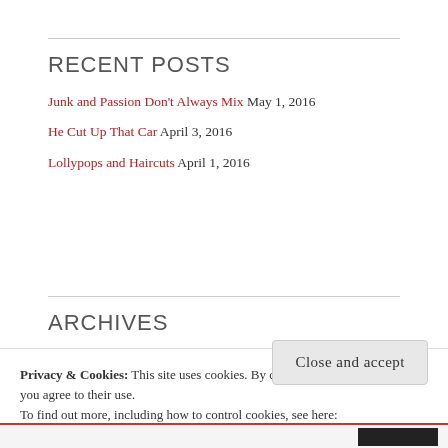RECENT POSTS
Junk and Passion Don't Always Mix May 1, 2016
He Cut Up That Car April 3, 2016
Lollypops and Haircuts April 1, 2016
ARCHIVES
Privacy & Cookies: This site uses cookies. By continuing to use this website, you agree to their use.
To find out more, including how to control cookies, see here: Cookie Policy
Close and accept